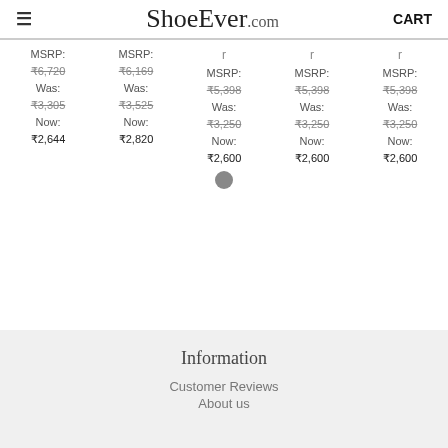ShoeEver.com  CART
| Col1 | Col2 | Col3 | Col4 | Col5 |
| --- | --- | --- | --- | --- |
| MSRP: | MSRP: | r | r | r |
| ₹6,720 | ₹6,169 | MSRP: | MSRP: | MSRP: |
| Was: | Was: | ₹5,398 | ₹5,398 | ₹5,398 |
| ₹3,305 | ₹3,525 | Was: | Was: | Was: |
| Now: | Now: | ₹3,250 | ₹3,250 | ₹3,250 |
| ₹2,644 | ₹2,820 | Now: | Now: | Now: |
|  |  | ₹2,600 | ₹2,600 | ₹2,600 |
Information
Customer Reviews
About us